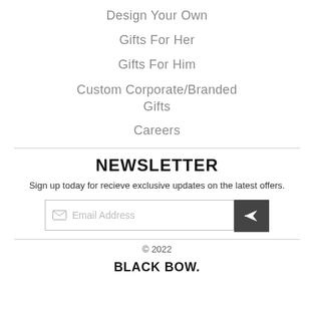Design Your Own
Gifts For Her
Gifts For Him
Custom Corporate/Branded Gifts
Careers
NEWSLETTER
Sign up today for recieve exclusive updates on the latest offers.
Email Address
© 2022
BLACK BOW.